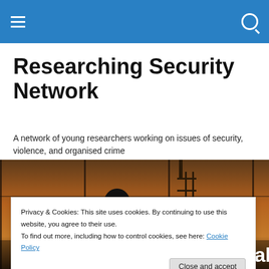Researching Security Network — navigation bar
Researching Security Network
A network of young researchers working on issues of security, violence, and organised crime
[Figure (photo): Silhouette of a soldier in front of a window at sunset, with a cage-like structure visible]
Privacy & Cookies: This site uses cookies. By continuing to use this website, you agree to their use. To find out more, including how to control cookies, see here: Cookie Policy
Close and accept
CALL FOR PAPERS: Special